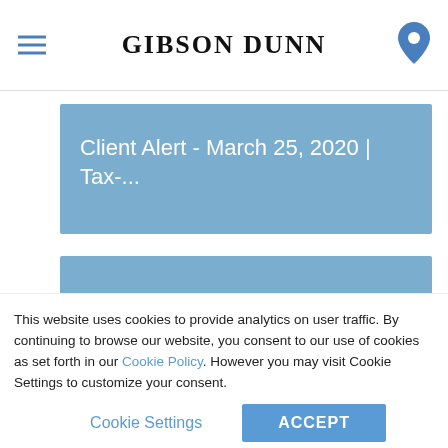GIBSON DUNN
Client Alert - March 25, 2020 | Tax-...
Client Alert - November 6, 2019 | I...
Firm News - August 15, 2019 | Gib...
This website uses cookies to provide analytics on user traffic. By continuing to browse our website, you consent to our use of cookies as set forth in our Cookie Policy. However you may visit Cookie Settings to customize your consent.